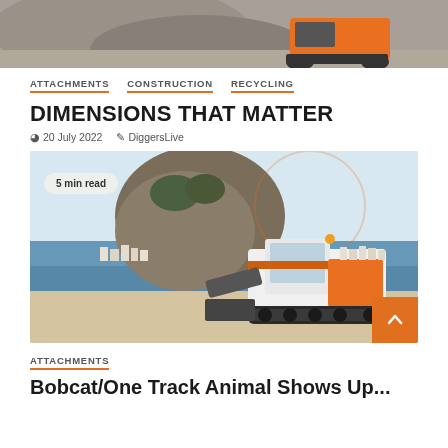[Figure (photo): Partial view of a construction vehicle near a gravel pile, cropped top image]
ATTACHMENTS
CONSTRUCTION
RECYCLING
DIMENSIONS THAT MATTER
20 July 2022   DiggersLive
[Figure (photo): A compact track loader (Bobcat) on a sandy beach with a coastal town and rocky hillside in the background. A '5 min read' badge overlays the top left corner. An orange scroll-to-top button is at the bottom right.]
ATTACHMENTS
Bobcat/One Track Animal Shows Up...